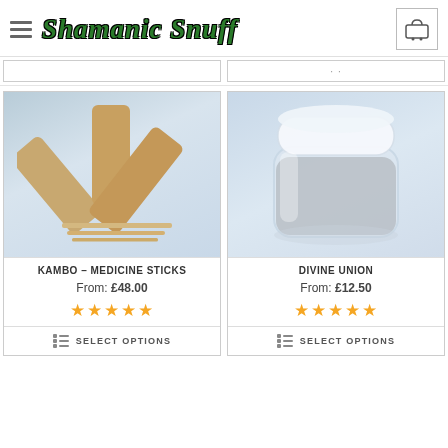Shamanic Snuff
[Figure (photo): Product image: Kambo medicine sticks - bamboo sticks arranged in a fan/cross pattern with small thin sticks below, on a light blue-grey gradient background]
KAMBO – MEDICINE STICKS
From: £48.00
★★★★★
SELECT OPTIONS
[Figure (photo): Product image: Divine Union - a clear glass jar with white lid containing grey/silver powder, on a light blue gradient background]
DIVINE UNION
From: £12.50
★★★★★
SELECT OPTIONS